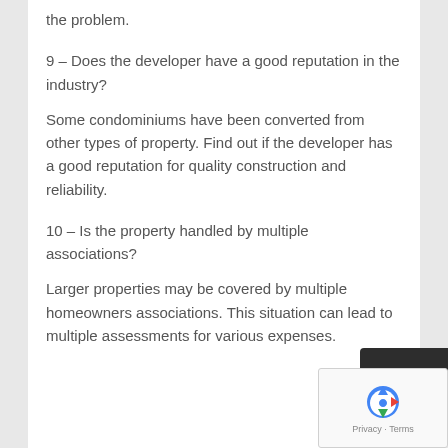the problem.
9 – Does the developer have a good reputation in the industry?
Some condominiums have been converted from other types of property. Find out if the developer has a good reputation for quality construction and reliability.
10 – Is the property handled by multiple associations?
Larger properties may be covered by multiple homeowners associations. This situation can lead to multiple assessments for various expenses.